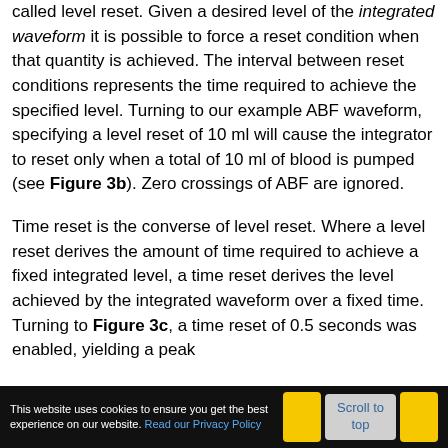called level reset. Given a desired level of the integrated waveform it is possible to force a reset condition when that quantity is achieved. The interval between reset conditions represents the time required to achieve the specified level. Turning to our example ABF waveform, specifying a level reset of 10 ml will cause the integrator to reset only when a total of 10 ml of blood is pumped (see Figure 3b). Zero crossings of ABF are ignored.
Time reset is the converse of level reset. Where a level reset derives the amount of time required to achieve a fixed integrated level, a time reset derives the level achieved by the integrated waveform over a fixed time. Turning to Figure 3c, a time reset of 0.5 seconds was enabled, yielding a peak
This website uses cookies to ensure you get the best experience on our website. Read our Privacy Policy